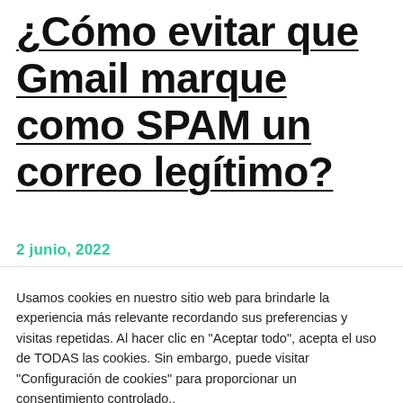¿Cómo evitar que Gmail marque como SPAM un correo legítimo?
2 junio, 2022
Usamos cookies en nuestro sitio web para brindarle la experiencia más relevante recordando sus preferencias y visitas repetidas. Al hacer clic en "Aceptar todo", acepta el uso de TODAS las cookies. Sin embargo, puede visitar "Configuración de cookies" para proporcionar un consentimiento controlado..